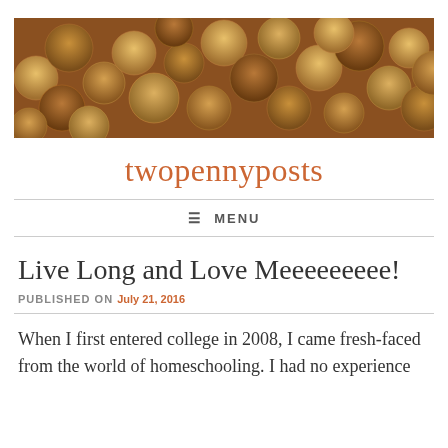[Figure (photo): A close-up photograph of many copper pennies and coins piled together, filling the entire banner area.]
twopennyposts
≡ MENU
Live Long and Love Meeeeeeeee!
PUBLISHED ON July 21, 2016
When I first entered college in 2008, I came fresh-faced from the world of homeschooling. I had no experience